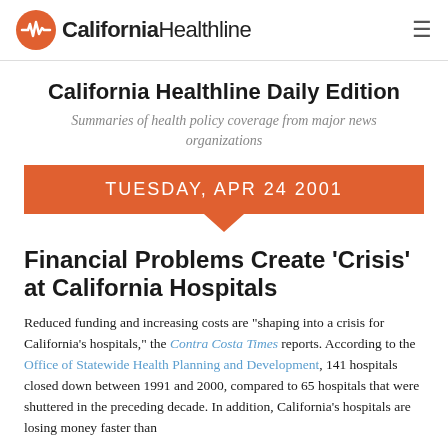California Healthline
California Healthline Daily Edition
Summaries of health policy coverage from major news organizations
TUESDAY, APR 24 2001
Financial Problems Create 'Crisis' at California Hospitals
Reduced funding and increasing costs are "shaping into a crisis for California's hospitals," the Contra Costa Times reports. According to the Office of Statewide Health Planning and Development, 141 hospitals closed down between 1991 and 2000, compared to 65 hospitals that were shuttered in the preceding decade. In addition, California's hospitals are losing money faster than...